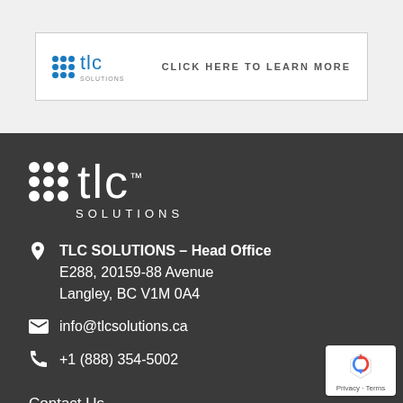[Figure (logo): TLC Solutions logo banner with 'CLICK HERE TO LEARN MORE' text on white background with grey border]
[Figure (logo): TLC Solutions white logo on dark grey footer background]
TLC SOLUTIONS – Head Office
E288, 20159-88 Avenue
Langley, BC V1M 0A4
info@tlcsolutions.ca
+1 (888) 354-5002
Contact Us